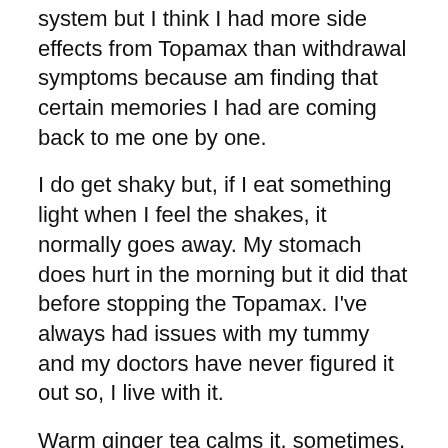system but I think I had more side effects from Topamax than withdrawal symptoms because am finding that certain memories I had are coming back to me one by one.
I do get shaky but, if I eat something light when I feel the shakes, it normally goes away. My stomach does hurt in the morning but it did that before stopping the Topamax. I've always had issues with my tummy and my doctors have never figured it out so, I live with it.
Warm ginger tea calms it, sometimes, as well as the CBD oils. (they taste nasty) I have a very sensitive stomach so there are times that… what goes in might come back out. I didn't even plan to stop taking Topamax so, I hope it works out for the better (obviously). The reason I quit taking it was due to forgetting doses and not feeling